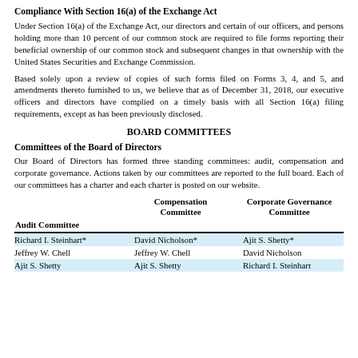Compliance With Section 16(a) of the Exchange Act
Under Section 16(a) of the Exchange Act, our directors and certain of our officers, and persons holding more than 10 percent of our common stock are required to file forms reporting their beneficial ownership of our common stock and subsequent changes in that ownership with the United States Securities and Exchange Commission.
Based solely upon a review of copies of such forms filed on Forms 3, 4, and 5, and amendments thereto furnished to us, we believe that as of December 31, 2018, our executive officers and directors have complied on a timely basis with all Section 16(a) filing requirements, except as has been previously disclosed.
BOARD COMMITTEES
Committees of the Board of Directors
Our Board of Directors has formed three standing committees: audit, compensation and corporate governance. Actions taken by our committees are reported to the full board. Each of our committees has a charter and each charter is posted on our website.
| Audit Committee | Compensation Committee | Corporate Governance Committee |
| --- | --- | --- |
| Richard I. Steinhart* | David Nicholson* | Ajit S. Shetty* |
| Jeffrey W. Chell | Jeffrey W. Chell | David Nicholson |
| Ajit S. Shetty | Ajit S. Shetty | Richard I. Steinhart |